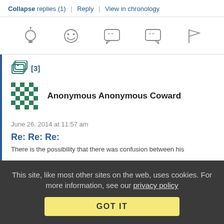Collapse replies (1) | Reply | View in chronology
[Figure (other): Row of 5 reaction/action icons: lightbulb, laughing emoji, speech bubble with left quote, speech bubble with right quote, flag]
[Figure (other): Stack of comment icons with [3] badge]
[Figure (other): Anonymous user avatar - green checkered pattern]
Anonymous Anonymous Coward
June 26, 2014 at 11:57 am
Re: Re: Re:
There is the possibility that there was confusion between his
This site, like most other sites on the web, uses cookies. For more information, see our privacy policy
GOT IT